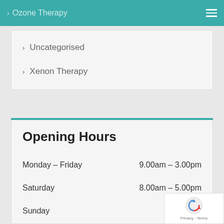> Ozone Therapy
> Uncategorised
> Xenon Therapy
Opening Hours
| Day | Hours |
| --- | --- |
| Monday – Friday | 9.00am – 3.00pm |
| Saturday | 8.00am – 5.00pm |
| Sunday | Clo... |
| Holidays | Clo... |